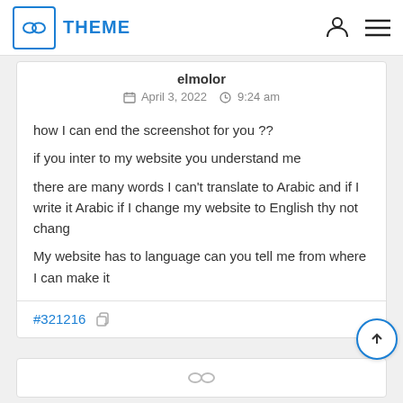THEME
elmolor
April 3, 2022  9:24 am
how I can end the screenshot for you ??
if you inter to my website you understand me
there are many words I can't translate to Arabic and if I write it Arabic if I change my website to English thy not chang

My website has to language can you tell me from where I can make it
#321216